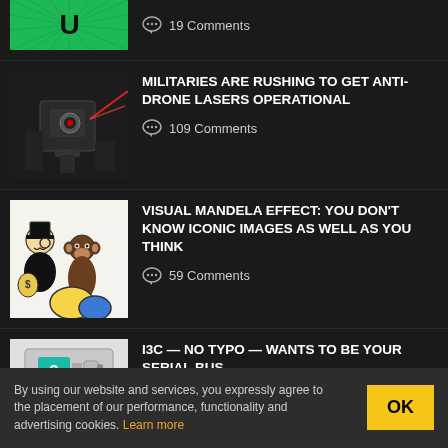[Figure (screenshot): Partial top article thumbnail showing green background with magnet icon]
19 Comments
[Figure (illustration): Dark illustration of military laser anti-drone equipment]
MILITARIES ARE RUSHING TO GET ANTI-DRONE LASERS OPERATIONAL
109 Comments
[Figure (illustration): Black and white cartoon illustration of Monopoly man and monkey on Pikachu]
VISUAL MANDELA EFFECT: YOU DON'T KNOW ICONIC IMAGES AS WELL AS YOU THINK
59 Comments
[Figure (screenshot): Partial thumbnail for I3C article]
I3C — NO TYPO — WANTS TO BE YOUR SERIAL BUS
By using our website and services, you expressly agree to the placement of our performance, functionality and advertising cookies. Learn more